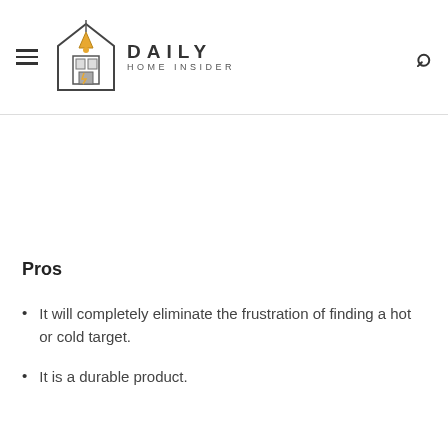Daily Home Insider
Pros
It will completely eliminate the frustration of finding a hot or cold target.
It is a durable product.